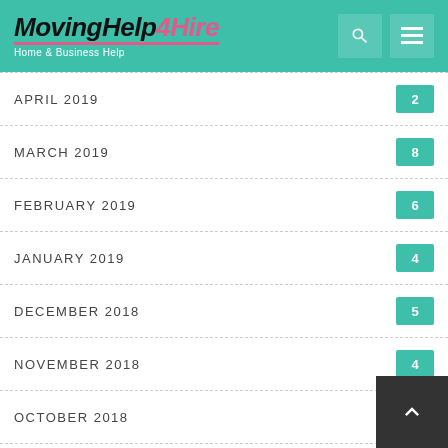MovingHelp4Hire — Home & Business Help
APRIL 2019 — 2
MARCH 2019 — 8
FEBRUARY 2019 — 6
JANUARY 2019 — 4
DECEMBER 2018 — 5
NOVEMBER 2018 — 4
OCTOBER 2018 — 6
SEPTEMBER 2018 — 3
AUGUST 2018 — 7
JULY 2018